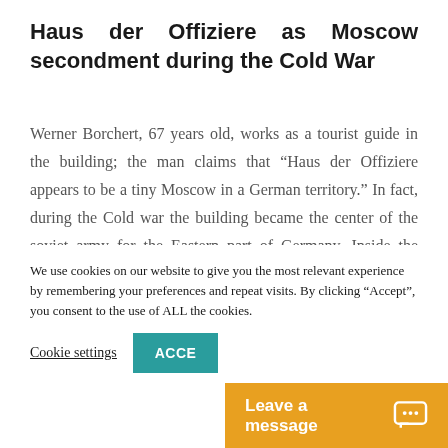Haus der Offiziere as Moscow secondment during the Cold War
Werner Borchert, 67 years old, works as a tourist guide in the building; the man claims that “Haus der Offiziere appears to be a tiny Moscow in a German territory.” In fact, during the Cold war the building became the center of the soviet army for the Eastern part of Germany. Inside the building were several facilities, such as a theater, a museum, a swimming
We use cookies on our website to give you the most relevant experience by remembering your preferences and repeat visits. By clicking “Accept”, you consent to the use of ALL the cookies.
Cookie settings  ACCEPT
Leave a message